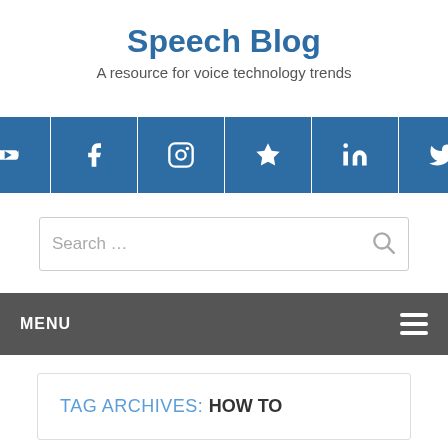Speech Blog
A resource for voice technology trends
[Figure (infographic): Row of 6 social media icon buttons (YouTube, Facebook, Instagram, star/bookmark, LinkedIn, Twitter) in blue square tiles]
Search ...
MENU
TAG ARCHIVES: HOW TO